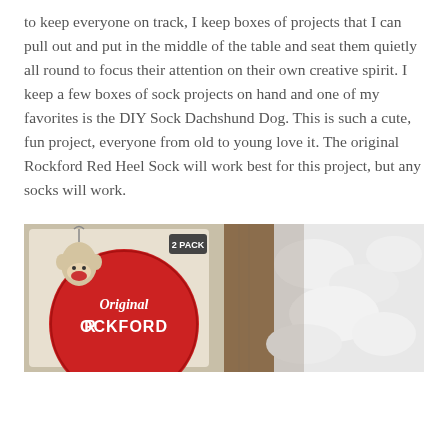to keep everyone on track, I keep boxes of projects that I can pull out and put in the middle of the table and seat them quietly all round to focus their attention on their own creative spirit. I keep a few boxes of sock projects on hand and one of my favorites is the DIY Sock Dachshund Dog. This is such a cute, fun project, everyone from old to young love it. The original Rockford Red Heel Sock will work best for this project, but any socks will work.
[Figure (photo): A photo showing a package of Original Rockford Red Heel Socks with a sock monkey ornament on the left side, and white fluffy stuffing material visible on the right side, against a brown background.]